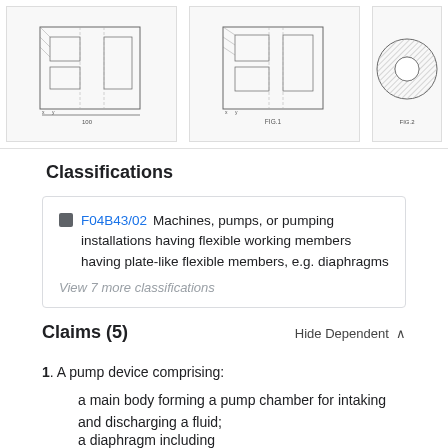[Figure (engineering-diagram): Three patent engineering drawings showing cross-sectional views of a pump device. Left and center figures show rectangular cross-sections with internal components and dimension lines. Right figure (partially visible) shows a circular component. Labels include FIG.1 and FIG.2.]
Classifications
F04B43/02  Machines, pumps, or pumping installations having flexible working members having plate-like flexible members, e.g. diaphragms
View 7 more classifications
Claims (5)
Hide Dependent ∧
1. A pump device comprising:
a main body forming a pump chamber for intaking and discharging a fluid;
a diaphragm including